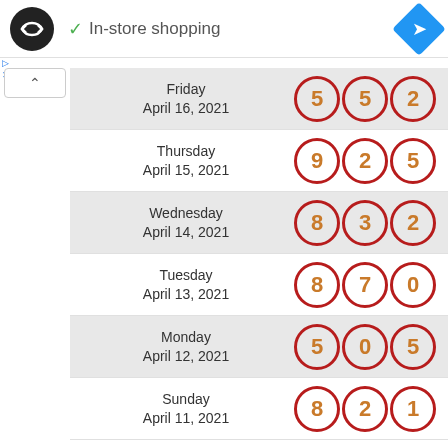[Figure (screenshot): Header bar with black circular logo with double arrow icon, green checkmark with 'In-store shopping' text, and blue diamond navigation icon on the right]
▷
×
| Date | Numbers |
| --- | --- |
| Friday April 16, 2021 | 5  5  2 |
| Thursday April 15, 2021 | 9  2  5 |
| Wednesday April 14, 2021 | 8  3  2 |
| Tuesday April 13, 2021 | 8  7  0 |
| Monday April 12, 2021 | 5  0  5 |
| Sunday April 11, 2021 | 8  2  1 |